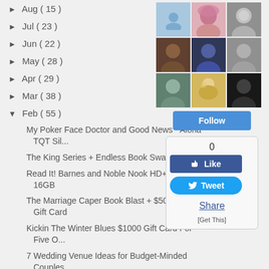► Aug ( 15 )
► Jul ( 23 )
► Jun ( 22 )
► May ( 28 )
► Apr ( 29 )
► Mar ( 38 )
▼ Feb ( 55 )
My Poker Face Doctor and Good News - Aloha TQT Sil...
The King Series + Endless Book Swag Pack
Read It! Barnes and Noble Nook HD+ Slate 16GB
The Marriage Caper Book Blast + $50 Amazon Gift Card
Kickin The Winter Blues $1000 Gift Card For Five O...
7 Wedding Venue Ideas for Budget-Minded Couples
[Figure (photo): Grid of follower avatars (3x3 visible) showing various profile photos]
[Figure (infographic): Follow button (blue)]
[Figure (infographic): Social share widget showing 0 likes, Like button, Tweet button, Share link, and [Get This]]